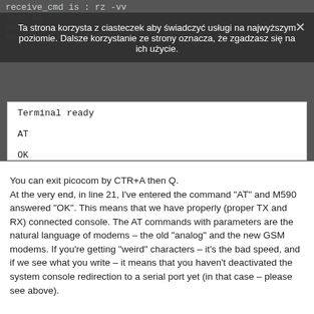[Figure (screenshot): Terminal screenshot showing picocom output with receive_cmd, imap, omap, emap settings in dark background. A cookie consent overlay is shown in Polish over the terminal. Below is a white terminal box showing 'Terminal ready', 'AT', and 'OK'.]
You can exit picocom by CTR+A then Q.
At the very end, in line 21, I've entered the command “AT” and M590 answered “OK”. This means that we have properly (proper TX and RX) connected console. The AT commands with parameters are the natural language of modems – the old “analog” and the new GSM modems. If you’re getting “weird” characters – it’s the bad speed, and if we see what you write – it means that you haven’t deactivated the system console redirection to a serial port yet (in that case – please see above).